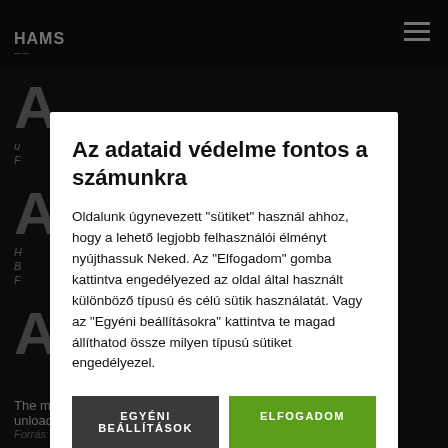A YOUNG SHOT — HAMS
Az adataid védelme fontos a számunkra
Oldalunk úgynevezett "sütiket" használ ahhoz, hogy a lehető legjobb felhasználói élményt nyújthassuk Neked. Az "Elfogadom" gomba kattintva engedélyezed az oldal által használt különböző típusú és célú sütik használatát. Vagy az "Egyéni beállításokra" kattintva te magad állíthatod össze milyen típusú sütiket engedélyezel.
EGYÉNI BEÁLLÍTÁSOK
ELFOGADOM
The mechanism of a gun or rifle including its loading, firing and unloading.
Forrás: Shooting UK